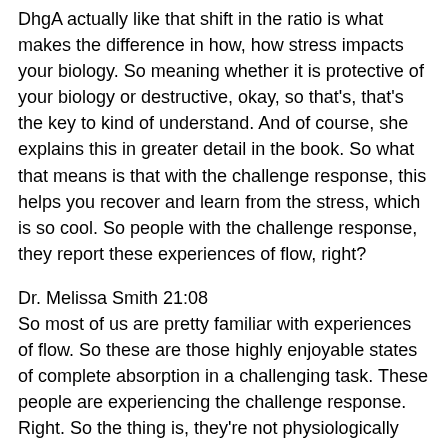DhgA actually like that shift in the ratio is what makes the difference in how, how stress impacts your biology. So meaning whether it is protective of your biology or destructive, okay, so that's, that's the key to kind of understand. And of course, she explains this in greater detail in the book. So what that means is that with the challenge response, this helps you recover and learn from the stress, which is so cool. So people with the challenge response, they report these experiences of flow, right?
Dr. Melissa Smith 21:08
So most of us are pretty familiar with experiences of flow. So these are those highly enjoyable states of complete absorption in a challenging task. These people are experiencing the challenge response. Right. So the thing is, they're not physiologically calm under pressure, right? There's actually a really strong challenge response happening. So the mistake is that they're really calm that there's a challenge response happening. Also, what's happening is there's an increase in confidence,